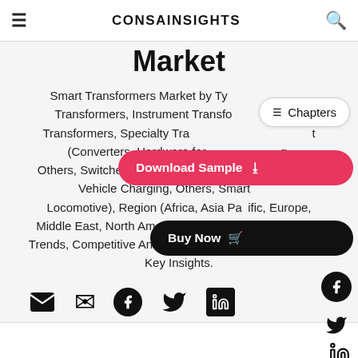CONSAINSIGHTS
Market
Smart Transformers Market by Type (Distribution Transformers, Instrument Transformers, Power Transformers, Specialty Transformers), Component (Converters, Hardware for Connectivity, Others, Switches, Transformers), Application (Electric Vehicle Charging, Others, Smart Grid, Locomotive), Region (Africa, Asia Pacific, Europe, Middle East, North American, South America), Region, Trends, Competitive Analysis, and Growth Opportunities, Key Insights.
[Figure (screenshot): Chapters button overlay]
[Figure (screenshot): Download Sample button overlay]
[Figure (screenshot): Buy Now button overlay]
[Figure (screenshot): Social share icons row: email, facebook, twitter, linkedin]